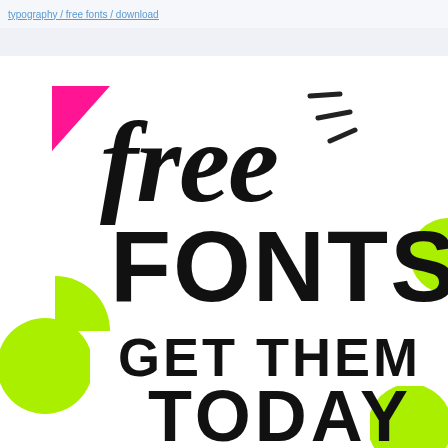free fonts – get them today
[Figure (illustration): Promotional graphic with the words 'free' in large black brush script, 'FONTS' in large black bold sans-serif, and 'GET THEM TODAY' in bold sans-serif below. Decorative elements include a hot pink triangle top-left, lime green half-circles on the left and bottom-right, and short dash/tick decorations near 'free'.]